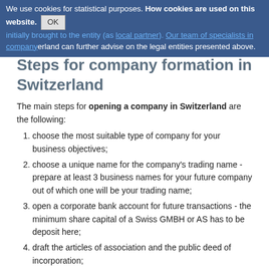We use cookies for statistical purposes. How cookies are used on this website. OK ...initially brought to the entity (as local partner). Our team of specialists in company...erland can further advise on the legal entities presented above.
Steps for company formation in Switzerland
The main steps for opening a company in Switzerland are the following:
choose the most suitable type of company for your business objectives;
choose a unique name for the company's trading name - prepare at least 3 business names for your future company out of which one will be your trading name;
open a corporate bank account for future transactions - the minimum share capital of a Swiss GMBH or AS has to be deposit here;
draft the articles of association and the public deed of incorporation;